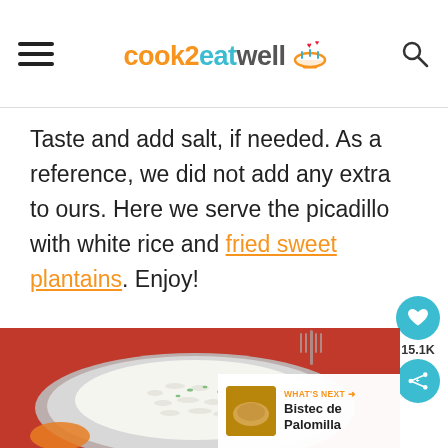cook2eatwell
Taste and add salt, if needed. As a reference, we did not add any extra to ours. Here we serve the picadillo with white rice and fried sweet plantains. Enjoy!
[Figure (photo): A bowl of white rice garnished with herbs, served on a red cloth with a fork in the background. An orange piece of food is visible at the bottom left.]
WHAT'S NEXT → Bistec de Palomilla